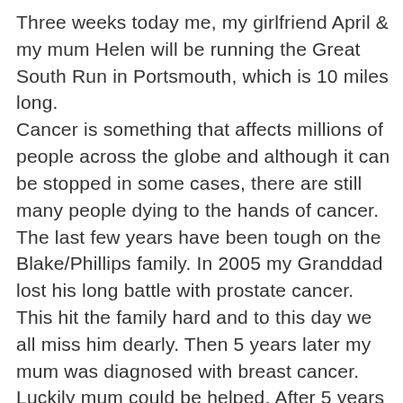Three weeks today me, my girlfriend April & my mum Helen will be running the Great South Run in Portsmouth, which is 10 miles long. Cancer is something that affects millions of people across the globe and although it can be stopped in some cases, there are still many people dying to the hands of cancer. The last few years have been tough on the Blake/Phillips family. In 2005 my Granddad lost his long battle with prostate cancer. This hit the family hard and to this day we all miss him dearly. Then 5 years later my mum was diagnosed with breast cancer. Luckily mum could be helped. After 5 years of treatment she is now finally clear of all cancer which I'm sure you'll agree is absolutely amazing! This undoubtedly is a great reason to do this run, to celebrate my mum's fantastic victory over cancer, to remember my granddad for his courage to fight cancer and to raise awareness and money to support the